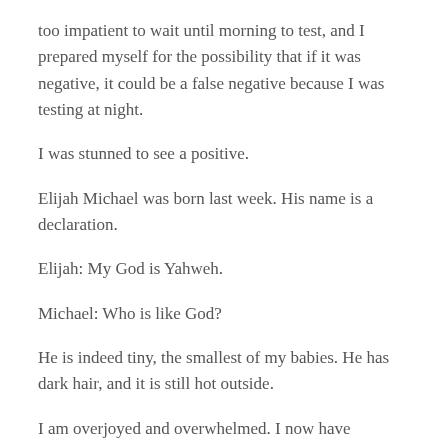too impatient to wait until morning to test, and I prepared myself for the possibility that if it was negative, it could be a false negative because I was testing at night.
I was stunned to see a positive.
Elijah Michael was born last week. His name is a declaration.
Elijah: My God is Yahweh.
Michael: Who is like God?
He is indeed tiny, the smallest of my babies. He has dark hair, and it is still hot outside.
I am overjoyed and overwhelmed. I now have absolutely no doubt that my vision was from God, and I'm still in awe that God changed his plans on my behalf and...